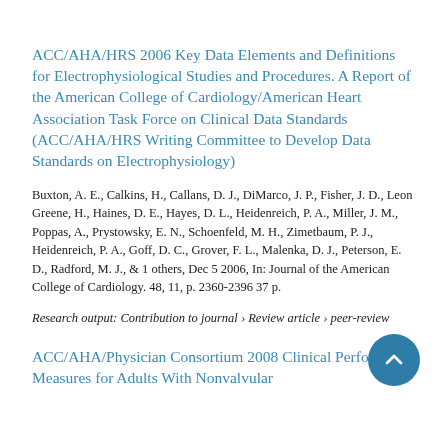ACC/AHA/HRS 2006 Key Data Elements and Definitions for Electrophysiological Studies and Procedures. A Report of the American College of Cardiology/American Heart Association Task Force on Clinical Data Standards (ACC/AHA/HRS Writing Committee to Develop Data Standards on Electrophysiology)
Buxton, A. E., Calkins, H., Callans, D. J., DiMarco, J. P., Fisher, J. D., Leon Greene, H., Haines, D. E., Hayes, D. L., Heidenreich, P. A., Miller, J. M., Poppas, A., Prystowsky, E. N., Schoenfeld, M. H., Zimetbaum, P. J., Heidenreich, P. A., Goff, D. C., Grover, F. L., Malenka, D. J., Peterson, E. D., Radford, M. J., & 1 others, Dec 5 2006, In: Journal of the American College of Cardiology. 48, 11, p. 2360-2396 37 p.
Research output: Contribution to journal › Review article › peer-review
ACC/AHA/Physician Consortium 2008 Clinical Performance Measures for Adults With Nonvalvular